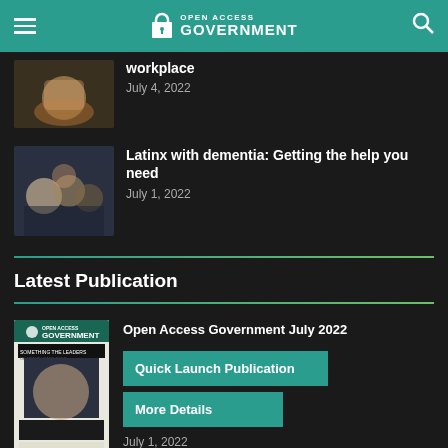Open Access Government
workplace
July 4, 2022
Latinx with dementia: Getting the help you need
July 1, 2022
Latest Publication
Open Access Government July 2022
Quick Launch Publication
More Details
July 1, 2022